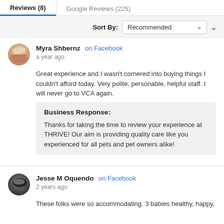Reviews (8) | Google Reviews (225)
Sort By: Recommended
Myra Shbernz on Facebook
a year ago
Great experience and I wasn't cornered into buying things I couldn't afford today. Very polite, personable, helpful staff. I will never go to VCA again.
Business Response:
Thanks for taking the time to review your experience at THRIVE! Our aim is providing quality care like you experienced for all pets and pet owners alike!
Jesse M Oquendo on Facebook
2 years ago
These folks were so accommodating. 3 babies healthy, happy,